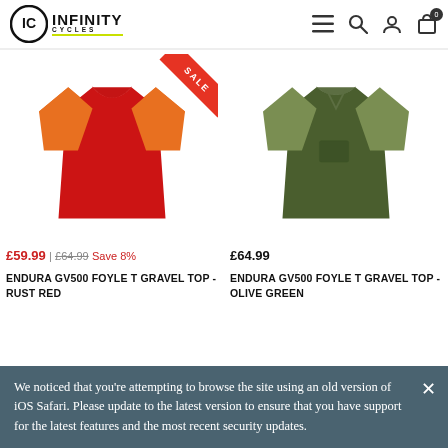Infinity Cycles - IC logo, navigation menu, search, account, cart (0)
[Figure (photo): Red and orange cycling jersey/t-shirt with SALE banner in top right corner]
£59.99 | £64.99 Save 8%
ENDURA GV500 FOYLE T GRAVEL TOP - RUST RED
[Figure (photo): Olive green cycling jersey/t-shirt with chest pocket]
£64.99
ENDURA GV500 FOYLE T GRAVEL TOP - OLIVE GREEN
We noticed that you're attempting to browse the site using an old version of iOS Safari. Please update to the latest version to ensure that you have support for the latest features and the most recent security updates.